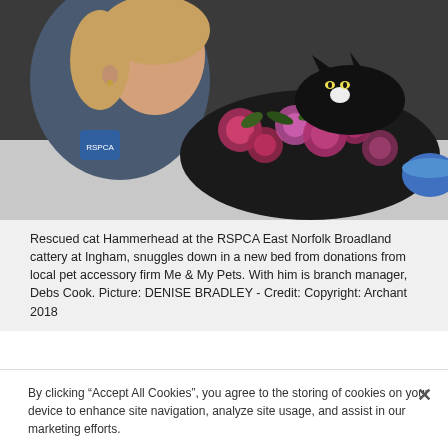[Figure (photo): A young woman in an RSPCA uniform leans over a black floral cat bed with pink roses. A black and white cat is visible in the bed. A blue bowl is visible at the right edge.]
Rescued cat Hammerhead at the RSPCA East Norfolk Broadland cattery at Ingham, snuggles down in a new bed from donations from local pet accessory firm Me & My Pets. With him is branch manager, Debs Cook. Picture: DENISE BRADLEY - Credit: Copyright: Archant 2018
She said: 'It's absolutely fantastic. Anything new is great. I'm sure the cats will enjoy their new beds and toys.'
By clicking "Accept All Cookies", you agree to the storing of cookies on your device to enhance site navigation, analyze site usage, and assist in our marketing efforts.